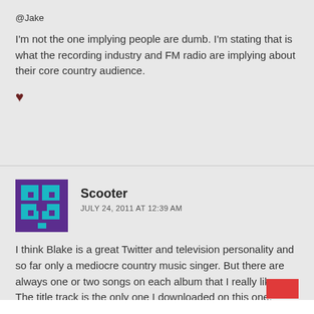@Jake
I'm not the one implying people are dumb. I'm stating that is what the recording industry and FM radio are implying about their core country audience.
♥
Scooter
JULY 24, 2011 AT 12:39 AM
I think Blake is a great Twitter and television personality and so far only a mediocre country music singer. But there are always one or two songs on each album that I really like. The title track is the only one I downloaded on this one.